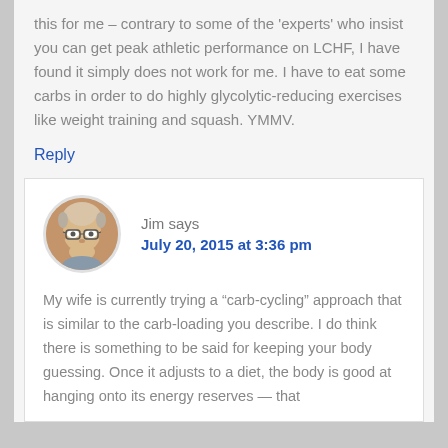this for me – contrary to some of the 'experts' who insist you can get peak athletic performance on LCHF, I have found it simply does not work for me. I have to eat some carbs in order to do highly glycolytic-reducing exercises like weight training and squash. YMMV.
Reply
Jim says
July 20, 2015 at 3:36 pm
[Figure (photo): Round avatar photo of an elderly man with glasses and grey hair]
My wife is currently trying a "carb-cycling" approach that is similar to the carb-loading you describe. I do think there is something to be said for keeping your body guessing. Once it adjusts to a diet, the body is good at hanging onto its energy reserves — that